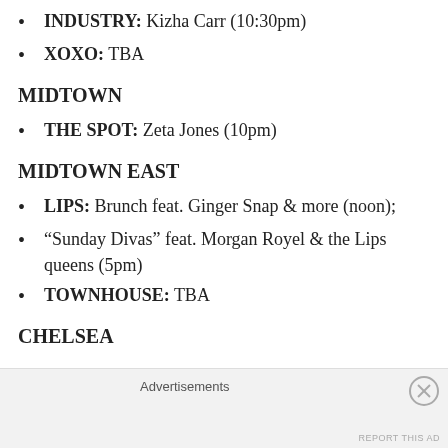INDUSTRY: Kizha Carr (10:30pm)
XOXO: TBA
MIDTOWN
THE SPOT: Zeta Jones (10pm)
MIDTOWN EAST
LIPS: Brunch feat. Ginger Snap & more (noon);
“Sunday Divas” feat. Morgan Royel & the Lips queens (5pm)
TOWNHOUSE: TBA
CHELSEA
Advertisements